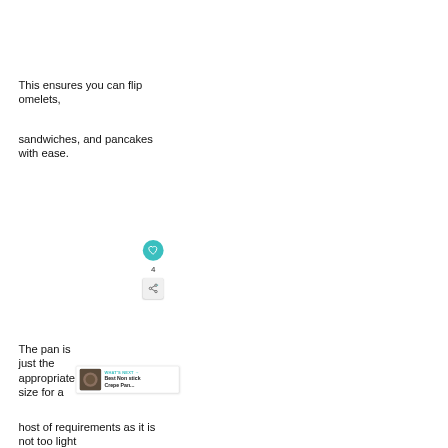This ensures you can flip omelets,
sandwiches, and pancakes with ease.
The pan is just the appropriate size for a
host of requirements as it is not too light